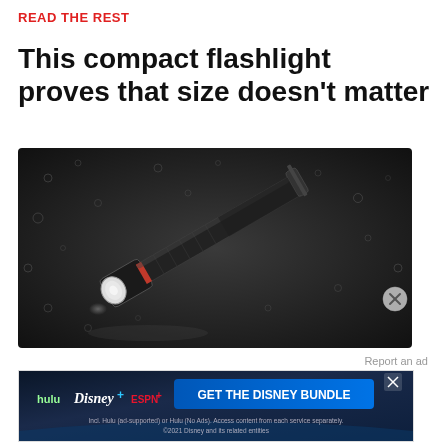READ THE REST
This compact flashlight proves that size doesn't matter
[Figure (photo): A compact black flashlight with a red band near the lens, lying on a dark wet surface with water droplets, photographed at an angle]
Report an ad
[Figure (screenshot): Disney Bundle advertisement banner showing Hulu, Disney+, and ESPN+ logos with text 'GET THE DISNEY BUNDLE'. Includes fine print: 'Incl. Hulu (ad-supported) or Hulu (No Ads). Access content from each service separately. ©2021 Disney and its related entities']